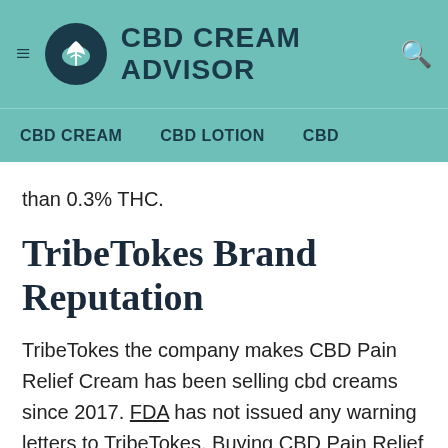CBD CREAM ADVISOR
CBD CREAM   CBD LOTION   CBD
than 0.3% THC.
TribeTokes Brand Reputation
TribeTokes the company makes CBD Pain Relief Cream has been selling cbd creams since 2017. FDA has not issued any warning letters to TribeTokes. Buying CBD Pain Relief Cream from TribeTokes has a money back guarantee.